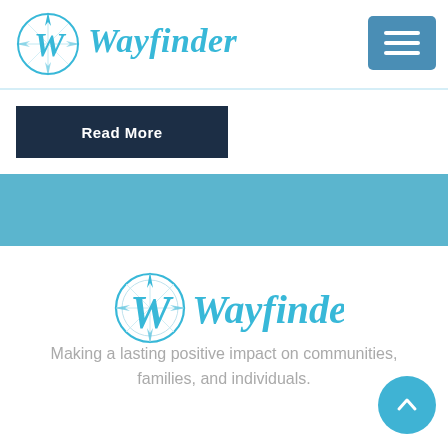Wayfinder
Read More
[Figure (logo): Wayfinder logo with compass icon — repeated in footer]
Making a lasting positive impact on communities, families, and individuals.